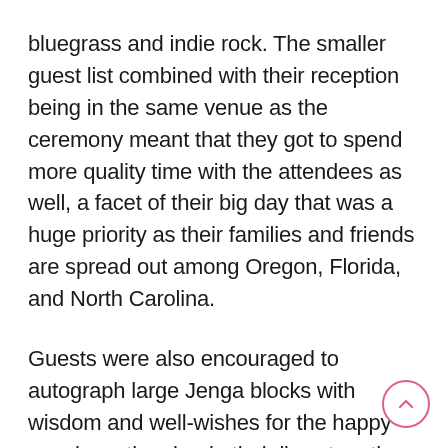bluegrass and indie rock. The smaller guest list combined with their reception being in the same venue as the ceremony meant that they got to spend more quality time with the attendees as well, a facet of their big day that was a huge priority as their families and friends are spread out among Oregon, Florida, and North Carolina.

Guests were also encouraged to autograph large Jenga blocks with wisdom and well-wishes for the happy couple as they begin their lives together, an amazing memento of their wedding they will enjoy